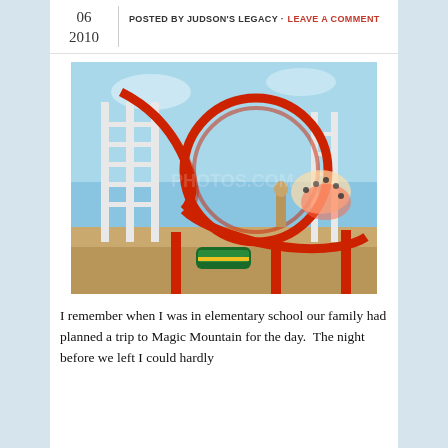06
2010 | POSTED BY JUDSON'S LEGACY · LEAVE A COMMENT
[Figure (photo): Roller coaster with loop at Magic Mountain amusement park, showing riders on a red track with a large vertical loop structure against a blue sky background.]
I remember when I was in elementary school our family had planned a trip to Magic Mountain for the day.  The night before we left I could hardly